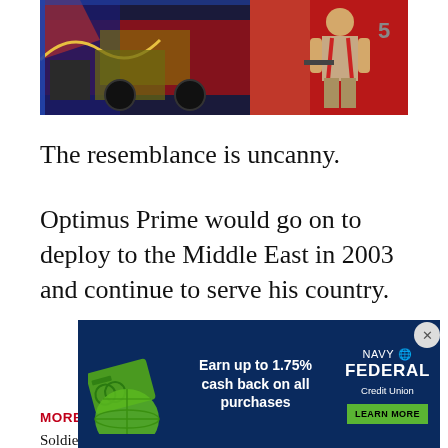[Figure (photo): Two-panel photo: left shows a red and blue decorated truck cab (Optimus Prime style), right shows a young soldier in uniform standing in front of a red fire truck marked with number 5]
The resemblance is uncanny.
Optimus Prime would go on to deploy to the Middle East in 2003 and continue to serve his country.
MORE ON WE ARE THE MIGHTY
Soldiers share marksmanship tips with Iraqi forces
6 toys that we played with that probably led us to enlisting
[Figure (other): Navy Federal Credit Union advertisement: green credit card graphic, text 'Earn up to 1.75% cash back on all purchases', Navy Federal Credit Union logo, green 'LEARN MORE' button]